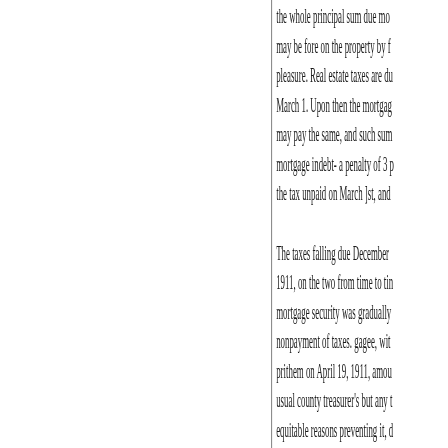the whole principal sum due mo may be fore on the property by f pleasure. Real estate taxes are du March 1. Upon then the mortgag may pay the same, and such sum mortgage indebt- a penalty of 3 p the tax unpaid on March ]st, and The taxes falling due December 1911, on the two from time to ti mortgage security was gradually nonpayment of taxes. gagee, wit prithem on April 19, 1911, amou usual county treasurer's but any t equitable reasons preventing it, d the terms of the mort. service of mortthe right of foreclosure upo failing to pay these taxes. grante he is valid and enforceable in e held (Doolittle v. Nurndue and p contains but two contentions: Fi second, "that the foreclosure and amount secured by the mortgage payable, shall ceed to an immed